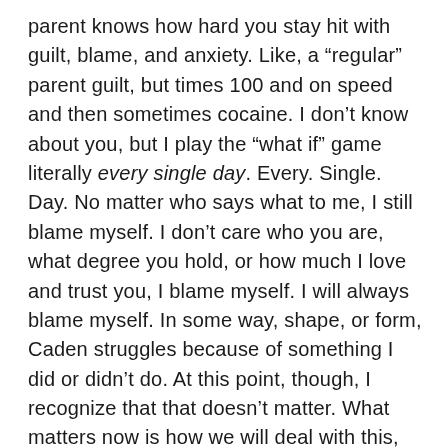parent knows how hard you stay hit with guilt, blame, and anxiety. Like, a “regular” parent guilt, but times 100 and on speed and then sometimes cocaine. I don’t know about you, but I play the “what if” game literally every single day. Every. Single. Day. No matter who says what to me, I still blame myself. I don’t care who you are, what degree you hold, or how much I love and trust you, I blame myself. I will always blame myself. In some way, shape, or form, Caden struggles because of something I did or didn’t do. At this point, though, I recognize that that doesn’t matter. What matters now is how we will deal with this, how we will process this, and how we will manage this.